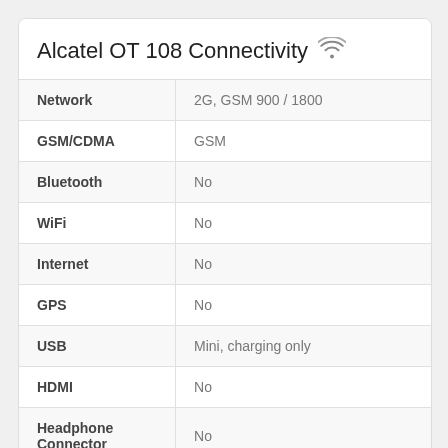| Feature | Value |
| --- | --- |
| Network | 2G, GSM 900 / 1800 |
| GSM/CDMA | GSM |
| Bluetooth | No |
| WiFi | No |
| Internet | No |
| GPS | No |
| USB | Mini, charging only |
| HDMI | No |
| Headphone Connector | No |
| SIM | Single |